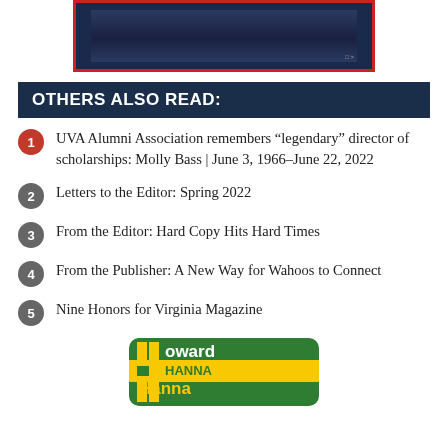[Figure (photo): Top image showing a dark blue banner/advertisement with red border]
OTHERS ALSO READ:
UVA Alumni Association remembers “legendary” director of scholarships: Molly Bass | June 3, 1966–June 22, 2022
Letters to the Editor: Spring 2022
From the Editor: Hard Copy Hits Hard Times
From the Publisher: A New Way for Wahoos to Connect
Nine Honors for Virginia Magazine
[Figure (logo): Howard Hanner logo with green and yellow colors]